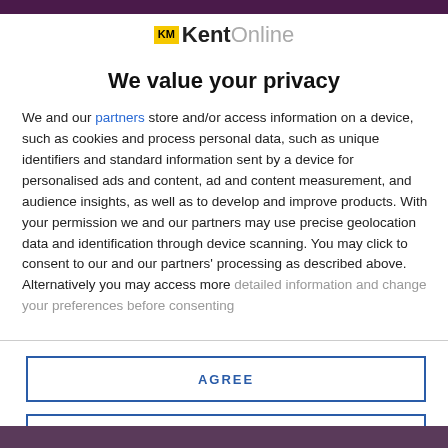[Figure (logo): KM KentOnline logo with yellow KM badge, bold Kent in black, Online in grey]
We value your privacy
We and our partners store and/or access information on a device, such as cookies and process personal data, such as unique identifiers and standard information sent by a device for personalised ads and content, ad and content measurement, and audience insights, as well as to develop and improve products. With your permission we and our partners may use precise geolocation data and identification through device scanning. You may click to consent to our and our partners' processing as described above. Alternatively you may access more detailed information and change your preferences before consenting
AGREE
MORE OPTIONS